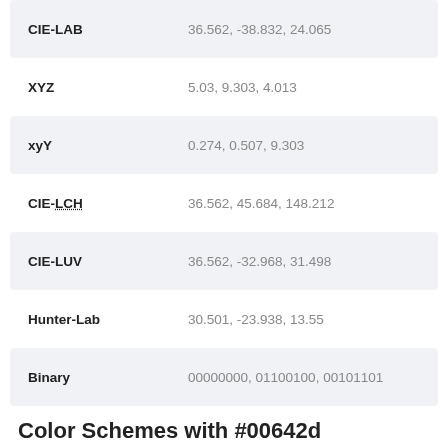| Property | Value |
| --- | --- |
| CIE-LAB | 36.562, -38.832, 24.065 |
| XYZ | 5.03, 9.303, 4.013 |
| xyY | 0.274, 0.507, 9.303 |
| CIE-LCH | 36.562, 45.684, 148.212 |
| CIE-LUV | 36.562, -32.968, 31.498 |
| Hunter-Lab | 30.501, -23.938, 13.55 |
| Binary | 00000000, 01100100, 00101101 |
Color Schemes with #00642d
[Figure (infographic): Two color swatches: #00642d (dark green) on top and a dark maroon color below]